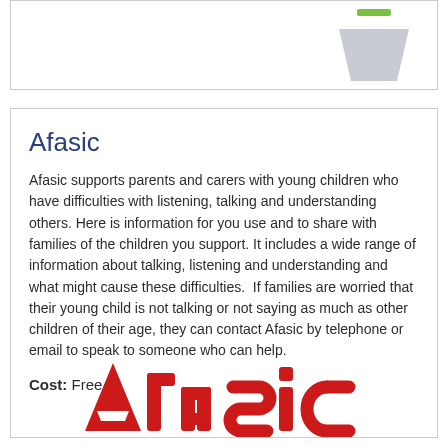[Figure (other): Top box with a trapezoid/triangle shape in gray and green on the right side]
Afasic
Afasic supports parents and carers with young children who have difficulties with listening, talking and understanding others. Here is information for you use and to share with families of the children you support. It includes a wide range of information about talking, listening and understanding and what might cause these difficulties.  If families are worried that their young child is not talking or not saying as much as other children of their age, they can contact Afasic by telephone or email to speak to someone who can help.
Cost: Free
[Figure (logo): Afasic red logo text partially visible at bottom of card]